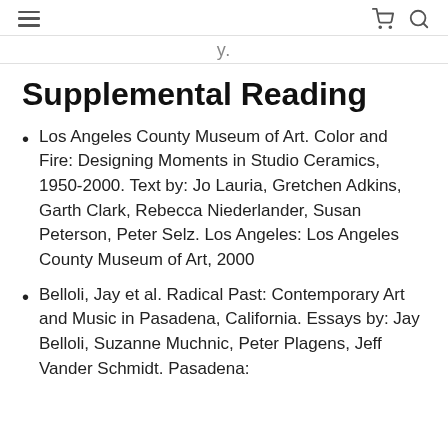≡  🛒  🔍
y.
Supplemental Reading
Los Angeles County Museum of Art. Color and Fire: Designing Moments in Studio Ceramics, 1950-2000. Text by: Jo Lauria, Gretchen Adkins, Garth Clark, Rebecca Niederlander, Susan Peterson, Peter Selz. Los Angeles: Los Angeles County Museum of Art, 2000
Belloli, Jay et al. Radical Past: Contemporary Art and Music in Pasadena, California. Essays by: Jay Belloli, Suzanne Muchnic, Peter Plagens, Jeff Vander Schmidt. Pasadena: